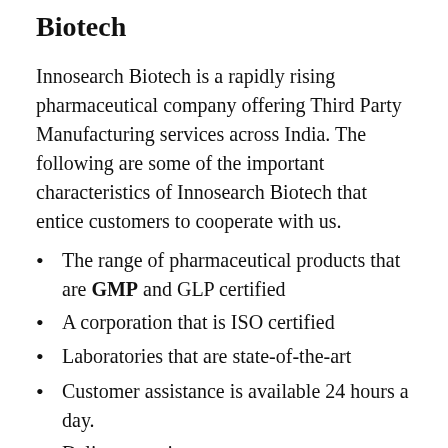Biotech
Innosearch Biotech is a rapidly rising pharmaceutical company offering Third Party Manufacturing services across India. The following are some of the important characteristics of Innosearch Biotech that entice customers to cooperate with us.
The range of pharmaceutical products that are GMP and GLP certified
A corporation that is ISO certified
Laboratories that are state-of-the-art
Customer assistance is available 24 hours a day.
Delivery on time
The most affordable pricing